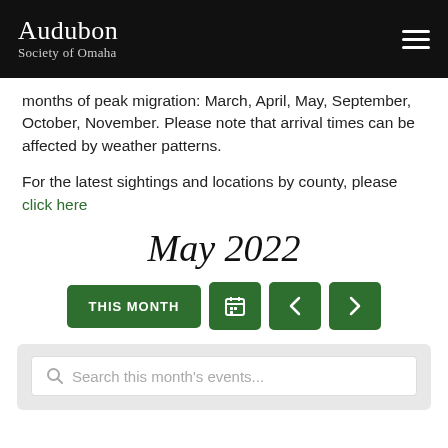Audubon Society of Omaha
months of peak migration: March, April, May, September, October, November. Please note that arrival times can be affected by weather patterns.
For the latest sightings and locations by county, please click here
May 2022
[Figure (other): Navigation buttons: THIS MONTH button, calendar icon button, left arrow button, right arrow button]
[Figure (other): Search box with placeholder text: Search this month's events...]